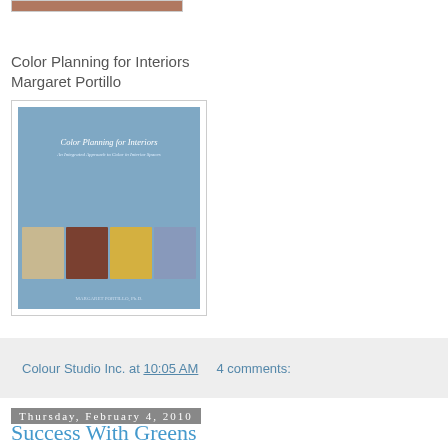[Figure (photo): Top portion of a photo visible at top of page, showing warm brown/orange tones]
Color Planning for Interiors
Margaret Portillo
[Figure (photo): Book cover of 'Color Planning for Interiors' by Margaret Portillo. Light blue cover with italic title text and four interior design photos along the bottom.]
Colour Studio Inc. at 10:05 AM    4 comments:
Thursday, February 4, 2010
Success With Greens